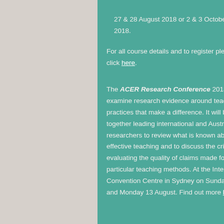27 & 28 August 2018 or 2 & 3 October 2018.
For all course details and to register please click here.
The ACER Research Conference 2018 will examine research evidence around teaching practices that make a difference. It will bring together leading international and Australian researchers to review what is known about effective teaching and to discuss the criteria for evaluating the quality of claims made for particular teaching methods. At the International Convention Centre in Sydney on Sunday 12 and Monday 13 August. Find out more here.
course on
to Create ...
(usually $9...
Ceduna: P...
Solutions ...
Bhargava.
Developing Individuals Aggress... September $220.3...
Assess... Challen... Septem...